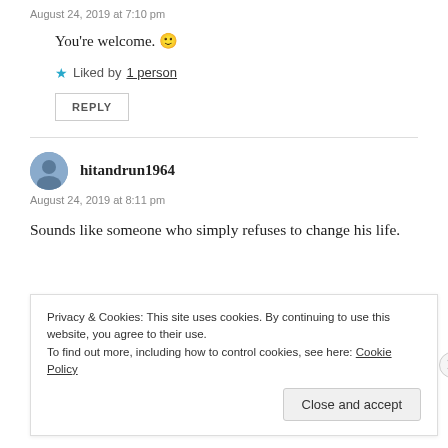August 24, 2019 at 7:10 pm
You're welcome. 🙂
★ Liked by 1 person
REPLY
hitandrun1964
August 24, 2019 at 8:11 pm
Sounds like someone who simply refuses to change his life.
Privacy & Cookies: This site uses cookies. By continuing to use this website, you agree to their use. To find out more, including how to control cookies, see here: Cookie Policy
Close and accept